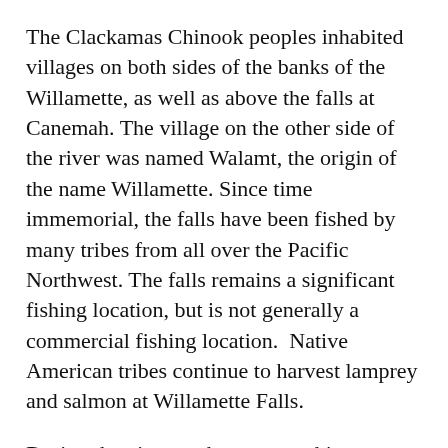The Clackamas Chinook peoples inhabited villages on both sides of the banks of the Willamette, as well as above the falls at Canemah. The village on the other side of the river was named Walamt, the origin of the name Willamette. Since time immemorial, the falls have been fished by many tribes from all over the Pacific Northwest. The falls remains a significant fishing location, but is not generally a commercial fishing location.  Native American tribes continue to harvest lamprey and salmon at Willamette Falls.
During the nineteenth century, white explorers and traders documented the existence of Willamette Falls. Native Americans helped traders and others portage the falls, often hosting the travelers, feeding them and joining them as guides, scouts and oarsmen.